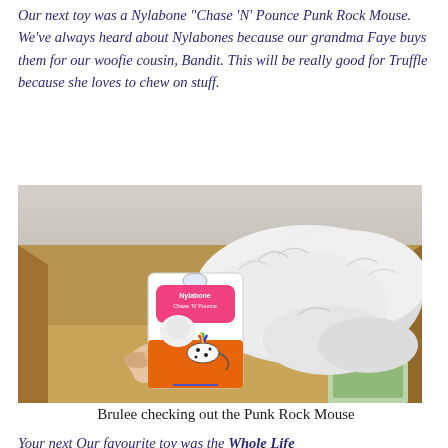Our next toy was a Nylabone "Chase 'N' Pounce Punk Rock Mouse. We've always heard about Nylabones because our grandma Faye buys them for our woofie cousin, Bandit. This will be really good for Truffle because she loves to chew on stuff.
[Figure (photo): A white fluffy cat (Brulee) leaning into a cardboard box, while a hand holds up a Nylabone Chase N Pounce Punk Rock Mouse toy in its packaging.]
Brulee checking out the Punk Rock Mouse
Your next Our favourite toy was the Whole Life